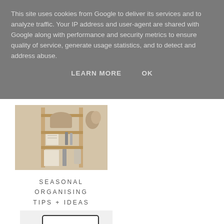This site uses cookies from Google to deliver its services and to analyze traffic. Your IP address and user-agent are shared with Google along with performance and security metrics to ensure quality of service, generate usage statistics, and to detect and address abuse.
LEARN MORE   OK
[Figure (photo): Wooden shelf unit with baskets, towels, and toiletries]
SEASONAL ORGANISING TIPS + IDEAS
[Figure (photo): Desktop with iMac monitor showing 'CHANGE ME', keyboard, and wooden monitor stand]
*SWITCHING TO A FREELANCE…
[Figure (photo): Bottom left blog post image with green plants]
[Figure (photo): Bottom right blog post image with flowers on yellow/pink background]